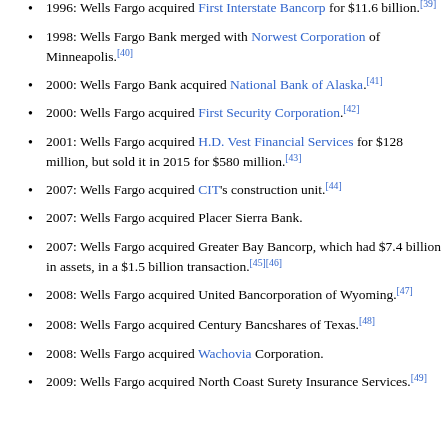to offer Internet banking.
1996: Wells Fargo acquired First Interstate Bancorp for $11.6 billion.[39]
1998: Wells Fargo Bank merged with Norwest Corporation of Minneapolis.[40]
2000: Wells Fargo Bank acquired National Bank of Alaska.[41]
2000: Wells Fargo acquired First Security Corporation.[42]
2001: Wells Fargo acquired H.D. Vest Financial Services for $128 million, but sold it in 2015 for $580 million.[43]
2007: Wells Fargo acquired CIT's construction unit.[44]
2007: Wells Fargo acquired Placer Sierra Bank.
2007: Wells Fargo acquired Greater Bay Bancorp, which had $7.4 billion in assets, in a $1.5 billion transaction.[45][46]
2008: Wells Fargo acquired United Bancorporation of Wyoming.[47]
2008: Wells Fargo acquired Century Bancshares of Texas.[48]
2008: Wells Fargo acquired Wachovia Corporation.
2009: Wells Fargo acquired North Coast Surety Insurance Services.[49]